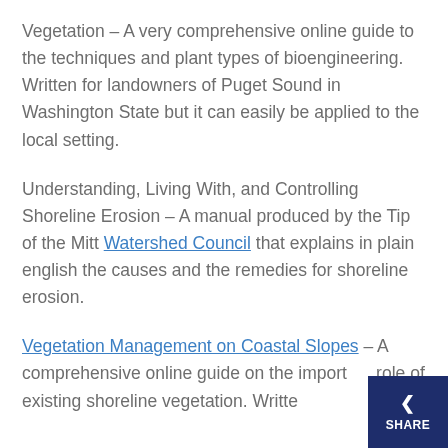Vegetation – A very comprehensive online guide to the techniques and plant types of bioengineering.  Written for landowners of Puget Sound in Washington State but it can easily be applied to the local setting.
Understanding, Living With, and Controlling Shoreline Erosion – A manual produced by the Tip of the Mitt Watershed Council that explains in plain english the causes and the remedies for shoreline erosion.
Vegetation Management on Coastal Slopes – A comprehensive online guide on the important role of existing shoreline vegetation.  Written...